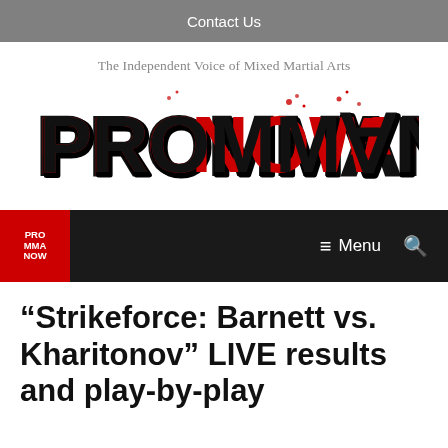Contact Us
The Independent Voice of Mixed Martial Arts
[Figure (logo): Pro MMA Now logo in red and black stylized text]
Menu
“Strikeforce: Barnett vs. Kharitonov” LIVE results and play-by-play